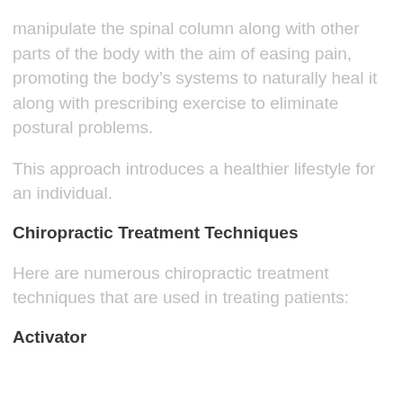manipulate the spinal column along with other parts of the body with the aim of easing pain, promoting the body's systems to naturally heal it along with prescribing exercise to eliminate postural problems.
This approach introduces a healthier lifestyle for an individual.
Chiropractic Treatment Techniques
Here are numerous chiropractic treatment techniques that are used in treating patients:
Activator